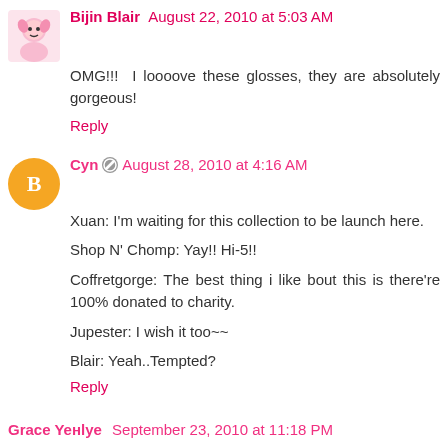Bijin Blair August 22, 2010 at 5:03 AM
OMG!!! I loooove these glosses, they are absolutely gorgeous!
Reply
Cyn August 28, 2010 at 4:16 AM
Xuan: I'm waiting for this collection to be launch here.

Shop N' Chomp: Yay!! Hi-5!!

Coffretgorge: The best thing i like bout this is there're 100% donated to charity.

Jupester: I wish it too~~

Blair: Yeah..Tempted?
Reply
Grace Yeнlye September 23, 2010 at 11:18 PM